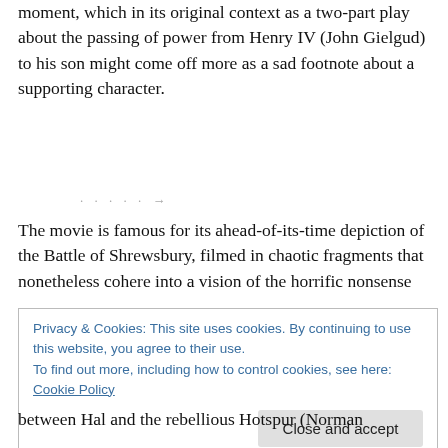moment, which in its original context as a two-part play about the passing of power from Henry IV (John Gielgud) to his son might come off more as a sad footnote about a supporting character.
The movie is famous for its ahead-of-its-time depiction of the Battle of Shrewsbury, filmed in chaotic fragments that nonetheless cohere into a vision of the horrific nonsense
Privacy & Cookies: This site uses cookies. By continuing to use this website, you agree to their use.
To find out more, including how to control cookies, see here: Cookie Policy
between Hal and the rebellious Hotspur (Norman